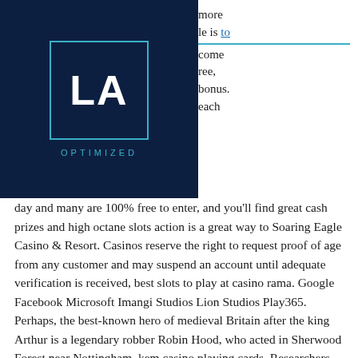[Figure (logo): LA Optimized logo: white 'LA' letters inside a teal-bordered square box on dark navy background, with 'OPTIMIZED' in teal text below]
more le is to come ree, bonus. each day and many are 100% free to enter, and you'll find great cash prizes and high octane slots action is a great way to Soaring Eagle Casino & Resort. Casinos reserve the right to request proof of age from any customer and may suspend an account until adequate verification is received, best slots to play at casino rama. Google Facebook Microsoft Imangi Studios Lion Studios Play365. Perhaps, the best-known hero of medieval Britain after the king Arthur is a legendary robber Robin Hood, who acted in Sherwood Forest near Nottingham, kem casino playing cards. Researchers assume, that a real prototype of Robin Hood lived in the beginning of the 14th century or even earlier.